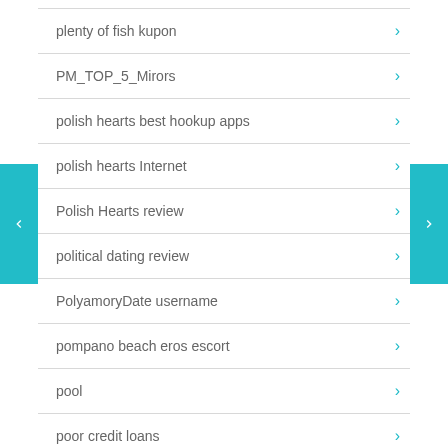plenty of fish kupon
PM_TOP_5_Mirors
polish hearts best hookup apps
polish hearts Internet
Polish Hearts review
political dating review
PolyamoryDate username
pompano beach eros escort
pool
poor credit loans
poppendating.de Einloggen